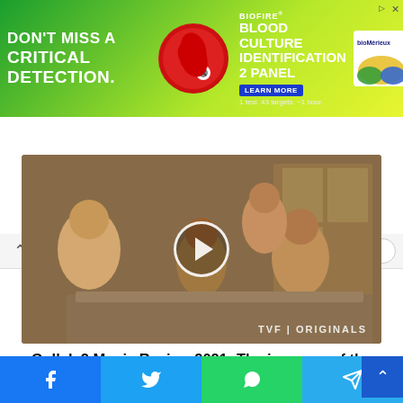[Figure (infographic): Advertisement banner for BioFire Blood Culture Identification 2 Panel with green gradient background, red droplet logo, and bioMerieux logo. Text: DON'T MISS A CRITICAL DETECTION. BIOFIRE BLOOD CULTURE IDENTIFICATION 2 PANEL. LEARN MORE. 1 test. 43 targets. ~1 hour.]
[Figure (screenshot): Browser navigation bar with back arrow and URL input field on light gray background.]
[Figure (photo): Video thumbnail showing a family scene from TVF Originals - Gullak 2. Four people sitting in a modest room, with a circular play button overlay in the center. Watermark: TVF | ORIGINALS.]
Gullak 2 Movie Review 2021: The incomes of the middle class family
[Figure (photo): Partially visible image below the title showing a blurred person with green foliage background.]
[Figure (infographic): Social media share bar at bottom with Facebook (blue), Twitter (light blue), WhatsApp (green), and Telegram (blue) buttons with their respective icons.]